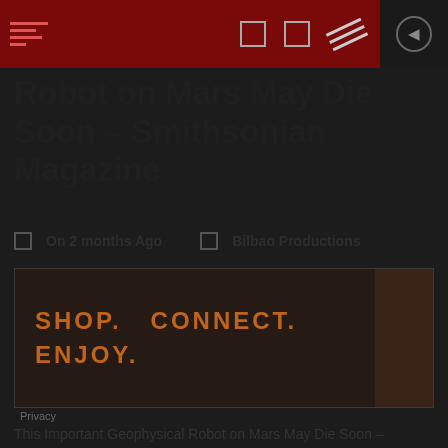Smithsonian Magazine - Robot on Mars May Die Soon
Robot on Mars May Die Soon – Smithsonian Magazine
On 2 months Ago   Bilbao Productions
[Figure (illustration): Advertisement banner with text SHOP. CONNECT. ENJOY. and a decorative image on the right side, with a Privacy label below.]
This Important Geophysical Robot on Mars May Die Soon – Smithsonian Magazine
[Figure (photo): Partial photograph showing Mars robot components with circular parts visible, along with text 'Introducing' at the bottom.]